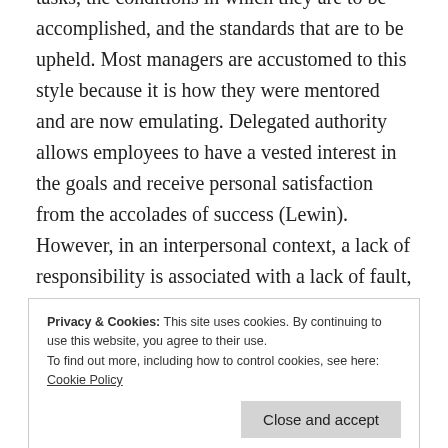tasks, the conditions in which they are to be accomplished, and the standards that are to be upheld. Most managers are accustomed to this style because it is how they were mentored and are now emulating. Delegated authority allows employees to have a vested interest in the goals and receive personal satisfaction from the accolades of success (Lewin). However, in an interpersonal context, a lack of responsibility is associated with a lack of fault, which is detrimental to the manager whom can easily confuse the two. A manager is always
Privacy & Cookies: This site uses cookies. By continuing to use this website, you agree to their use. To find out more, including how to control cookies, see here: Cookie Policy
a shift between autocratic and delegated styles